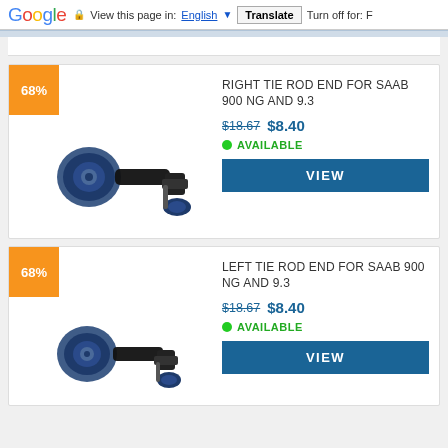Google  View this page in: English  Translate  Turn off for: F
[Figure (photo): Product listing card: Right Tie Rod End for Saab 900 NG and 9.3 with 68% discount badge, image of black/blue tie rod end part]
RIGHT TIE ROD END FOR SAAB 900 NG AND 9.3
$18.67  $8.40
AVAILABLE
VIEW
[Figure (photo): Product listing card: Left Tie Rod End for Saab 900 NG and 9.3 with 68% discount badge, image of black/blue tie rod end part]
LEFT TIE ROD END FOR SAAB 900 NG AND 9.3
$18.67  $8.40
AVAILABLE
VIEW